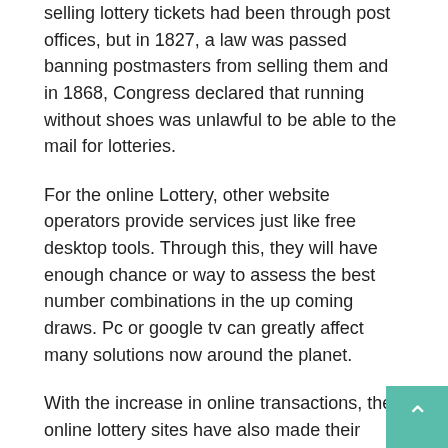selling lottery tickets had been through post offices, but in 1827, a law was passed banning postmasters from selling them and in 1868, Congress declared that running without shoes was unlawful to be able to the mail for lotteries.
For the online Lottery, other website operators provide services just like free desktop tools. Through this, they will have enough chance or way to assess the best number combinations in the up coming draws. Pc or google tv can greatly affect many solutions now around the planet.
With the increase in online transactions, the online lottery sites have also made their mark. These sites put up giveaways on his or her homepage folks bid particularly low price for the article to type in the contest. Usually it is significantly below real price belonging to the object. For instance you pay around $5 for a PS3. Obtain the difference? Yeah. So if you happen to get a windfall then